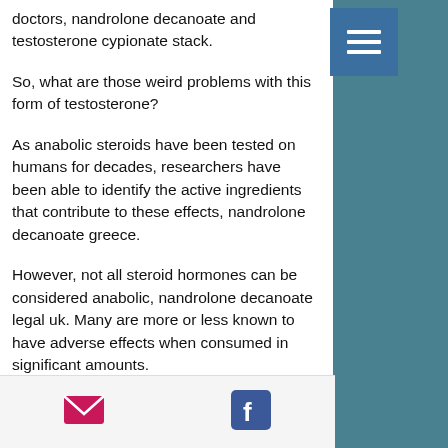doctors, nandrolone decanoate and testosterone cypionate stack.
So, what are those weird problems with this form of testosterone?
As anabolic steroids have been tested on humans for decades, researchers have been able to identify the active ingredients that contribute to these effects, nandrolone decanoate greece.
However, not all steroid hormones can be considered anabolic, nandrolone decanoate legal uk. Many are more or less known to have adverse effects when consumed in significant amounts.
The most infamous and deadly of these is
[Figure (other): Email icon (pink envelope) and Facebook icon (blue) in the bottom navigation bar]